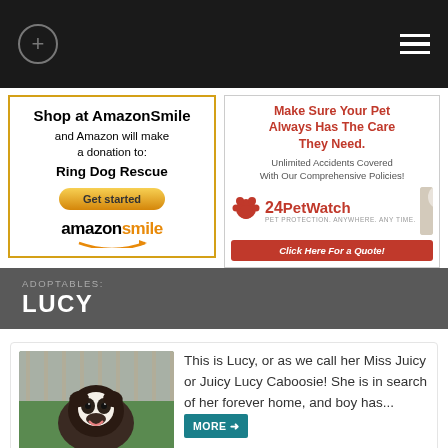[Figure (screenshot): Top navigation bar with plus icon on left and hamburger menu on right, dark background]
[Figure (screenshot): AmazonSmile advertisement: Shop at AmazonSmile and Amazon will make a donation to: Ring Dog Rescue. Get started button. amazonsmile logo.]
[Figure (screenshot): 24PetWatch advertisement: Make Sure Your Pet Always Has The Care They Need. Unlimited Accidents Covered With Our Comprehensive Policies. 24PetWatch logo with paw print. Click Here For a Quote button.]
ADOPTABLES:
LUCY
[Figure (photo): Photo of Lucy, a black and white dog (pit bull mix) sitting on grass in front of a wooden fence, looking at camera with mouth open]
This is Lucy, or as we call her Miss Juicy or Juicy Lucy Caboosie! She is in search of her forever home, and boy has...